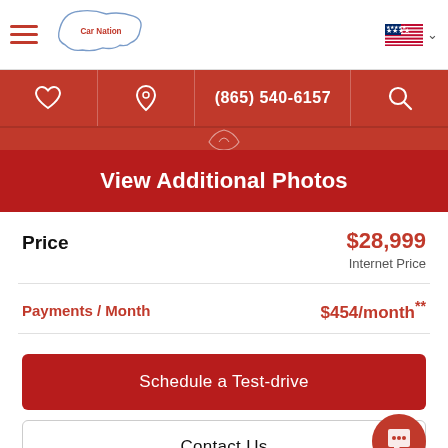Car Nation — (865) 540-6157
View Additional Photos
Price — $28,999 Internet Price
Payments / Month — $454/month**
Schedule a Test-drive
Contact Us